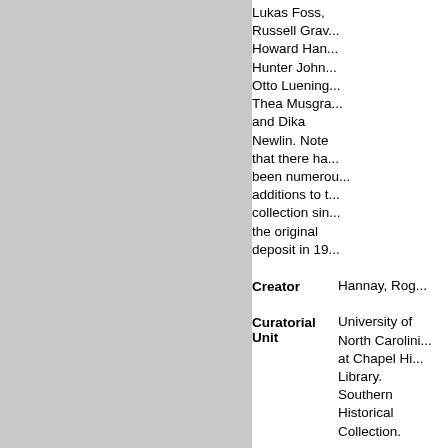Lukas Foss, Russell Gravy, Howard Hanson, Hunter Johnson, Otto Luening, Thea Musgrave, and Dika Newlin. Note that there has been numerous additions to the collection since the original deposit in 19...
Creator: Hannay, Rog...
Curatorial Unit: University of North Carolina at Chapel Hill Library. Southern Historical Collection.
Language: English